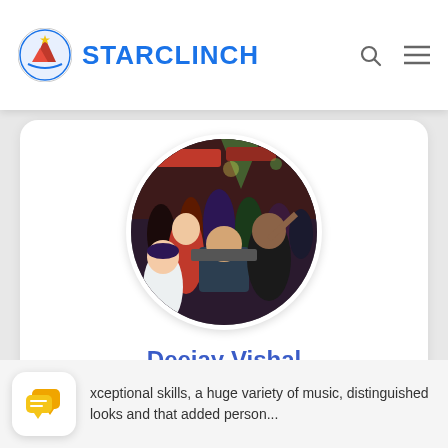STARCLINCH
[Figure (photo): Circular profile photo of Deejay Vishal with people at a DJ event, party scene with colorful lights]
Deejay Vishal
[Figure (other): 4 yellow star rating icons]
[Figure (other): Chat bubble icon widget in bottom left corner]
xceptional skills, a huge variety of music, distinguished looks and that added person...